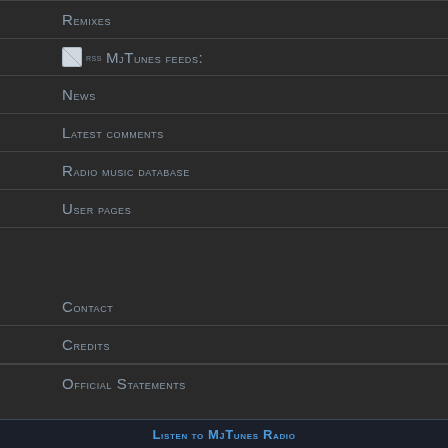Remixes
RSS MjTunes feeds:
News
Latest comments
Radio music database
User pages
Contact
Credits
Official Statements
Listen to MjTunes Radio